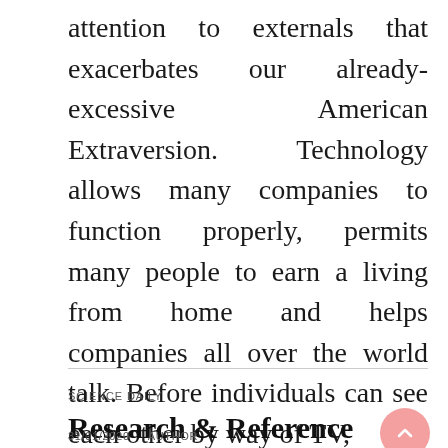attention to externals that exacerbates our already-excessive American Extraversion. Technology allows many companies to function properly, permits many people to earn a living from home and helps companies all over the world talk. Before individuals can see each other by way of TV, ...
SCIENCE DAILY
Research & Reference Services
31/01/2020   AUTHOR